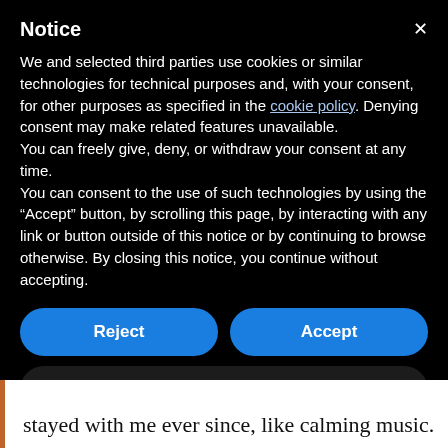Notice
We and selected third parties use cookies or similar technologies for technical purposes and, with your consent, for other purposes as specified in the cookie policy. Denying consent may make related features unavailable.
You can freely give, deny, or withdraw your consent at any time.
You can consent to the use of such technologies by using the “Accept” button, by scrolling this page, by interacting with any link or button outside of this notice or by continuing to browse otherwise. By closing this notice, you continue without accepting.
Reject
Accept
Learn more and customize
stayed with me ever since, like calming music.